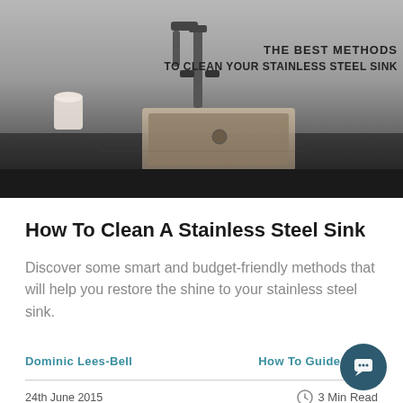[Figure (photo): Hero image of a stainless steel kitchen sink with a faucet on a dark countertop. Text overlay reads: THE BEST METHODS TO CLEAN YOUR STAINLESS STEEL SINK]
How To Clean A Stainless Steel Sink
Discover some smart and budget-friendly methods that will help you restore the shine to your stainless steel sink.
Dominic Lees-Bell | How To Guides
24th June 2015 | 3 Min Read